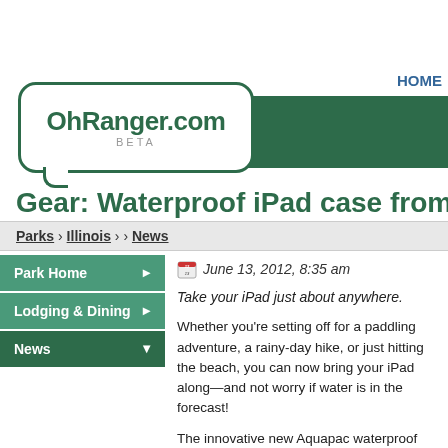[Figure (logo): OhRanger.com BETA logo in speech bubble with green navigation bar and HOME link]
Gear: Waterproof iPad case from Aquapa
Parks › Illinois › › News
Park Home ▶
Lodging & Dining ▶
News ▼
June 13, 2012, 8:35 am
Take your iPad just about anywhere.
Whether you're setting off for a paddling adventure, a rainy-day hike, or just hitting the beach, you can now bring your iPad along—and not worry if water is in the forecast!
The innovative new Aquapac waterproof iPad case allows iPad owners to not only bring their iPad